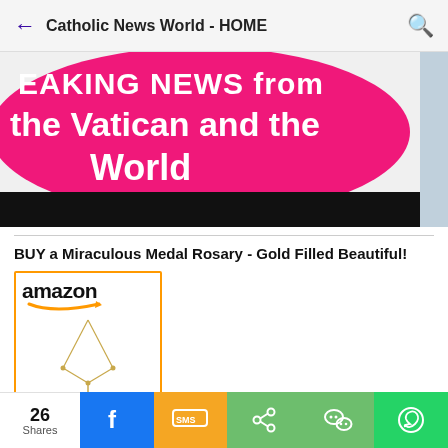Catholic News World - HOME
[Figure (photo): Banner image with pink circle and text 'BREAKING NEWS from the Vatican and the World' on a light blue/grey background, with a black strip at the bottom.]
BUY a Miraculous Medal Rosary - Gold Filled Beautiful!
[Figure (photo): Amazon product card showing a Miabella 925 Sterling Silver gold-filled rosary necklace with cross pendant, with Amazon logo and smile arrow at top.]
26 Shares | Facebook | SMS | Share | WeChat | WhatsApp